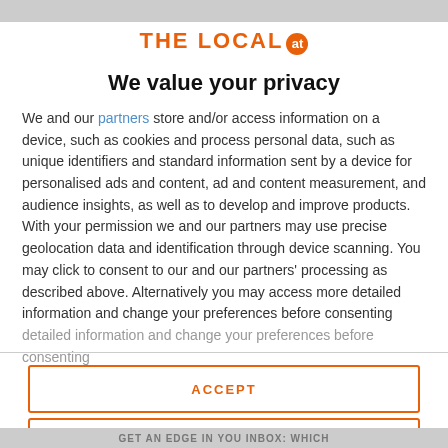THE LOCAL at
We value your privacy
We and our partners store and/or access information on a device, such as cookies and process personal data, such as unique identifiers and standard information sent by a device for personalised ads and content, ad and content measurement, and audience insights, as well as to develop and improve products. With your permission we and our partners may use precise geolocation data and identification through device scanning. You may click to consent to our and our partners' processing as described above. Alternatively you may access more detailed information and change your preferences before consenting
ACCEPT
MORE OPTIONS
GET AN EDGE IN YOU INBOX: WHICH